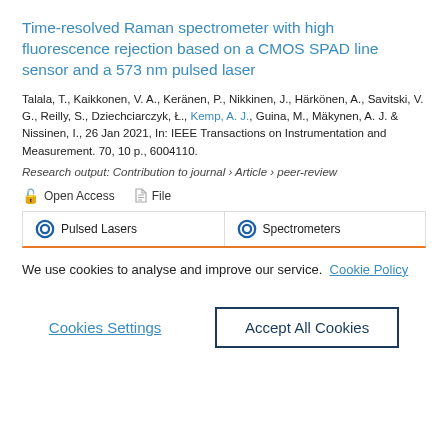Time-resolved Raman spectrometer with high fluorescence rejection based on a CMOS SPAD line sensor and a 573 nm pulsed laser
Talala, T., Kaikkonen, V. A., Keränen, P., Nikkinen, J., Härkönen, A., Savitski, V. G., Reilly, S., Dziechciarczyk, Ł., Kemp, A. J., Guina, M., Mäkynen, A. J. & Nissinen, I., 26 Jan 2021, In: IEEE Transactions on Instrumentation and Measurement. 70, 10 p., 6004110.
Research output: Contribution to journal › Article › peer-review
Open Access   File
Pulsed Lasers   Spectrometers
We use cookies to analyse and improve our service. Cookie Policy
Cookies Settings
Accept All Cookies